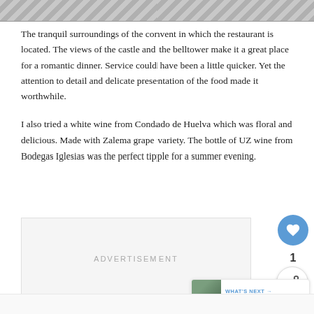[Figure (photo): Top strip showing a partial image, appears to be currency/banknotes]
The tranquil surroundings of the convent in which the restaurant is located. The views of the castle and the belltower make it a great place for a romantic dinner. Service could have been a little quicker. Yet the attention to detail and delicate presentation of the food made it worthwhile.
I also tried a white wine from Condado de Huelva which was floral and delicious. Made with Zalema grape variety. The bottle of UZ wine from Bodegas Iglesias was the perfect tipple for a summer evening.
ADVERTISEMENT